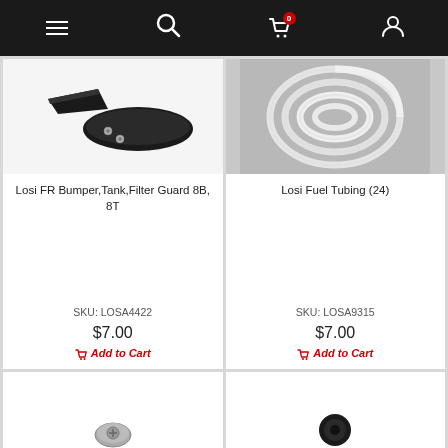Navigation bar with menu, search, cart (0), and account icons
[Figure (photo): Black plastic bumper, tank, and filter guard parts with screws for Losi 8B 8T RC car]
Losi FR Bumper,Tank,Filter Guard 8B, 8T
SKU: LOSA4422
$7.00
Add to Cart
[Figure (photo): Clear white flexible fuel tubing coiled up for Losi RC car]
Losi Fuel Tubing (24)
SKU: LOSA9315
$7.00
Add to Cart
[Figure (photo): Partial product image at bottom left, appears to be a small metal part]
[Figure (photo): Partial product image at bottom right, appears to be a small black part]